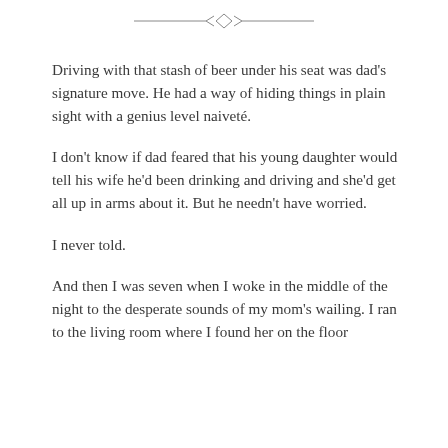[Figure (illustration): Decorative horizontal ornament divider with a central diamond/arrow motif and extending horizontal lines]
Driving with that stash of beer under his seat was dad's signature move. He had a way of hiding things in plain sight with a genius level naiveté.
I don't know if dad feared that his young daughter would tell his wife he'd been drinking and driving and she'd get all up in arms about it. But he needn't have worried.
I never told.
And then I was seven when I woke in the middle of the night to the desperate sounds of my mom's wailing. I ran to the living room where I found her on the floor